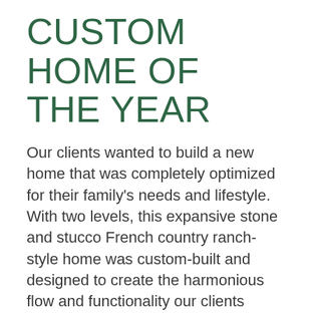CUSTOM HOME OF THE YEAR
Our clients wanted to build a new home that was completely optimized for their family's needs and lifestyle. With two levels, this expansive stone and stucco French country ranch-style home was custom-built and designed to create the harmonious flow and functionality our clients desired.
An open concept floor plan was created on the main level, with a laundry/flex room and master suite on one side of the home and a separate bedroom wing on the other. The